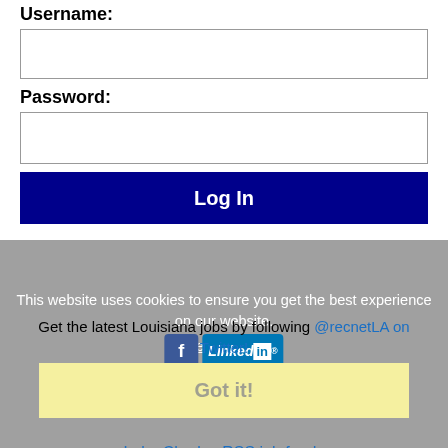Username:
[Figure (screenshot): Empty username text input field]
Password:
[Figure (screenshot): Empty password text input field]
[Figure (screenshot): Log In button, dark navy blue background with white bold text]
Forgot password?
[Figure (screenshot): Gray footer overlay with cookie notice, Facebook and LinkedIn social icons, Learn more link, Louisiana jobs text with @recnetLA on Twitter link, Got it! button bar, and Lake Charles RSS job feeds link]